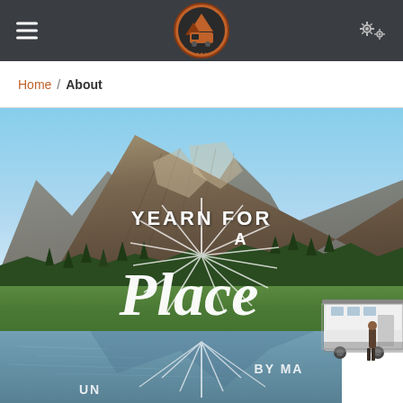Navigation header with hamburger menu, logo, and settings icon
Home / About
[Figure (photo): Mountain landscape with a lake in the foreground, green meadows, rocky mountains in the background, a white RV/camper on the right side, and a person standing near the water. Overlaid white hand-lettered text reads 'YEARN FOR A Place' with sunburst rays, and partially visible text 'BY MA...' and 'UN...']